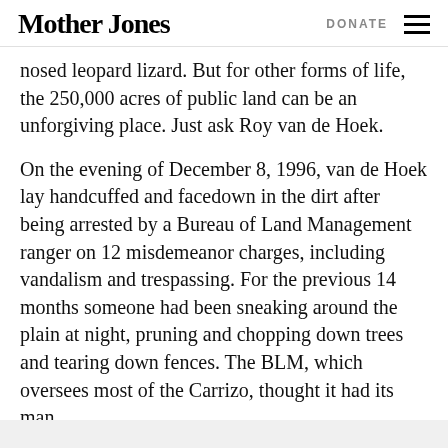Mother Jones | DONATE
nosed leopard lizard. But for other forms of life, the 250,000 acres of public land can be an unforgiving place. Just ask Roy van de Hoek.
On the evening of December 8, 1996, van de Hoek lay handcuffed and facedown in the dirt after being arrested by a Bureau of Land Management ranger on 12 misdemeanor charges, including vandalism and trespassing. For the previous 14 months someone had been sneaking around the plain at night, pruning and chopping down trees and tearing down fences. The BLM, which oversees most of the Carrizo, thought it had its man.